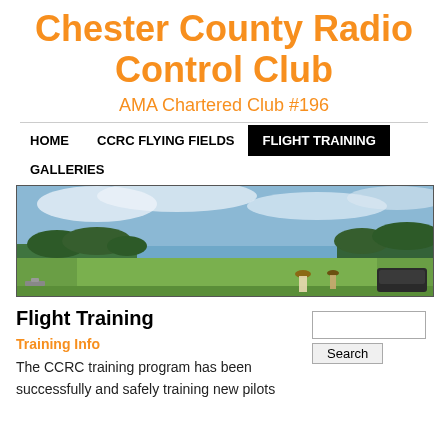Chester County Radio Control Club
AMA Chartered Club #196
HOME | CCRC FLYING FIELDS | FLIGHT TRAINING | GALLERIES
[Figure (photo): Panoramic photo of a grass airfield with blue sky and people in the background]
Flight Training
Training Info
The CCRC training program has been successfully and safely training new pilots